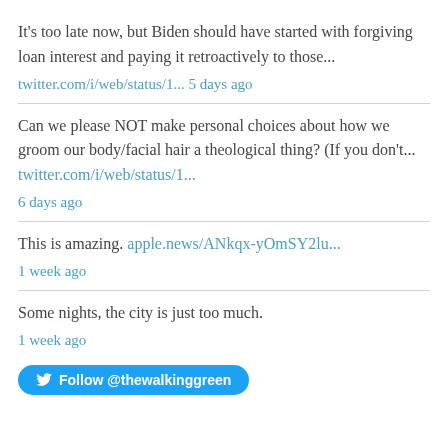It's too late now, but Biden should have started with forgiving loan interest and paying it retroactively to those... twitter.com/i/web/status/1... 5 days ago
Can we please NOT make personal choices about how we groom our body/facial hair a theological thing? (If you don't... twitter.com/i/web/status/1... 6 days ago
This is amazing. apple.news/ANkqx-yOmSY2lu... 1 week ago
Some nights, the city is just too much. 1 week ago
Follow @thewalkinggreen